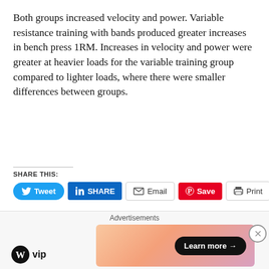Both groups increased velocity and power. Variable resistance training with bands produced greater increases in bench press 1RM. Increases in velocity and power were greater at heavier loads for the variable training group compared to lighter loads, where there were smaller differences between groups.
SHARE THIS:
[Figure (other): Social share buttons: Tweet (Twitter/blue rounded), SHARE (LinkedIn/blue), Email (outlined), Save (Pinterest/red), Print (outlined)]
[Figure (other): Like button with blue star icon and text 'Like', with subtext 'Be the first to like this.']
Be the first to like this.
Advertisements
[Figure (other): WordPress VIP logo and advertisement banner with gradient background and 'Learn more →' button]